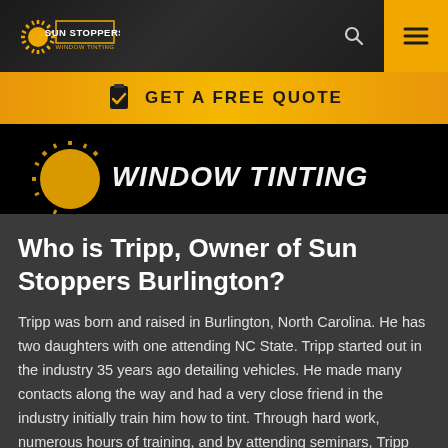[Figure (logo): Sun Stoppers Window Tinting logo with sun rays graphic on dark gradient navigation bar with search icon and hamburger menu icon on yellow background]
[Figure (infographic): Golden/yellow banner with clipboard checkmark icon and text GET A FREE QUOTE in dark bold uppercase letters]
[Figure (photo): Dark hero image showing Sun Stoppers Window Tinting branding with orange sun graphic and white italic text WINDOW TINTING on black background]
Who is Tripp, Owner of Sun Stoppers Burlington?
Tripp was born and raised in Burlington, North Carolina. He has two daughters with one attending NC State. Tripp started out in the industry 35 years ago detailing vehicles. He made many contacts along the way and had a very close friend in the industry initially train him how to tint. Through hard work, numerous hours of training, and by attending seminars, Tripp has